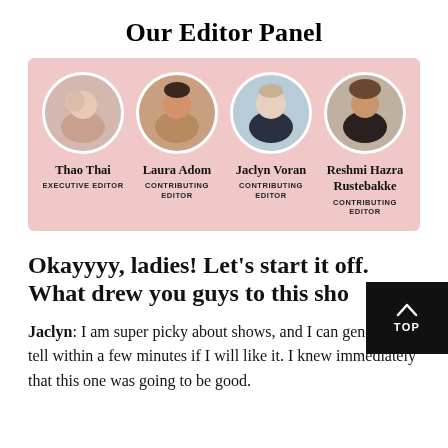Our Editor Panel
[Figure (infographic): Editor panel on pink background showing four circular portrait photos with names and titles: Thao Thai (Executive Editor), Laura Adom (Contributing Editor), Jaclyn Voran (Contributing Editor), Reshmi Hazra Rustebakke (Contributing Editor)]
Okayyyy, ladies! Let's start it off. What drew you guys to this show
Jaclyn: I am super picky about shows, and I can generally tell within a few minutes if I will like it. I knew immediately that this one was going to be good.